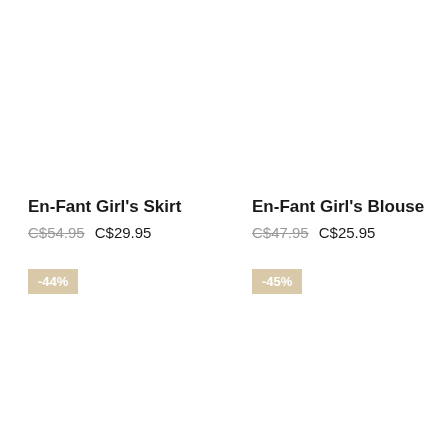En-Fant Girl's Skirt
C$54.95  C$29.95
-44%
En-Fant Girl's Blouse
C$47.95  C$25.95
-45%